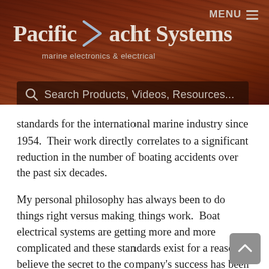Pacific Yacht Systems — marine electronics & electrical
standards for the international marine industry since 1954.  Their work directly correlates to a significant reduction in the number of boating accidents over the past six decades.
My personal philosophy has always been to do things right versus making things work.  Boat electrical systems are getting more and more complicated and these standards exist for a reason.  I believe the secret to the company's success has been “expertise through repetition”.  We concentrate on a few things and do them over and over.  All of our technicians receive ABYC training, updates and share tips and